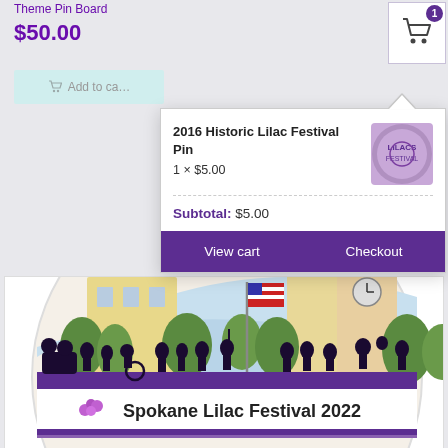Theme Pin Board
$50.00
[Figure (screenshot): Shopping cart icon with badge showing 1 item]
Add to cart
2016 Historic Lilac Festival Pin
1 × $5.00
[Figure (photo): Lilac Festival pin product thumbnail - circular colorful festival pin logo]
Subtotal: $5.00
View cart
Checkout
[Figure (illustration): Spokane Lilac Festival 2022 pin showing parade silhouettes, American flag, clock tower, and bridge with text 'Spokane Lilac Festival 2022 Our Town']